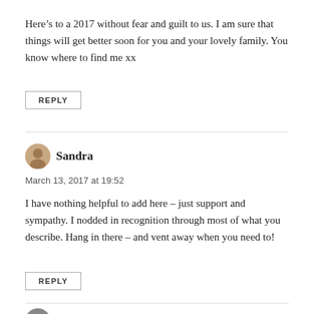Here’s to a 2017 without fear and guilt to us. I am sure that things will get better soon for you and your lovely family. You know where to find me xx
REPLY
Sandra
March 13, 2017 at 19:52
I have nothing helpful to add here – just support and sympathy. I nodded in recognition through most of what you describe. Hang in there – and vent away when you need to!
REPLY